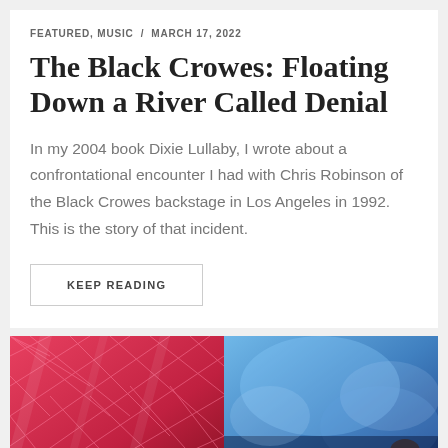FEATURED, MUSIC  /  MARCH 17, 2022
The Black Crowes: Floating Down a River Called Denial
In my 2004 book Dixie Lullaby, I wrote about a confrontational encounter I had with Chris Robinson of the Black Crowes backstage in Los Angeles in 1992. This is the story of that incident.
KEEP READING
[Figure (photo): A concert or event photograph split into two halves: left side shows a red/pink balloon or sphere with a diamond/net pattern overlay in warm tones, right side shows a performer or scene with blue stage lighting.]